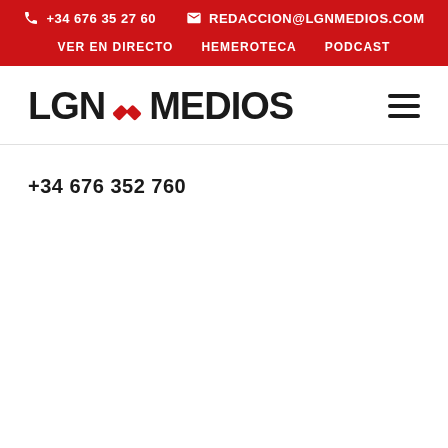+34 676 35 27 60  REDACCION@LGNMEDIOS.COM  VER EN DIRECTO  HEMEROTECA  PODCAST
[Figure (logo): LGN Medios logo with red diagonal cross symbol between LGN and MEDIOS text]
+34 676 352 760